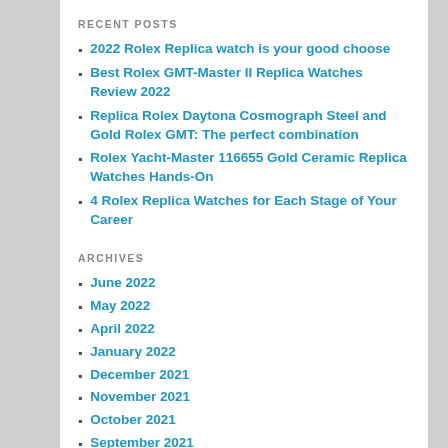RECENT POSTS
2022 Rolex Replica watch is your good choose
Best Rolex GMT-Master II Replica Watches Review 2022
Replica Rolex Daytona Cosmograph Steel and Gold Rolex GMT: The perfect combination
Rolex Yacht-Master 116655 Gold Ceramic Replica Watches Hands-On
4 Rolex Replica Watches for Each Stage of Your Career
ARCHIVES
June 2022
May 2022
April 2022
January 2022
December 2021
November 2021
October 2021
September 2021
August 2021